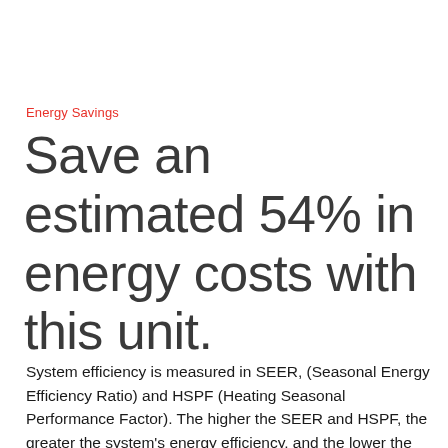Energy Savings
Save an estimated 54% in energy costs with this unit.
System efficiency is measured in SEER, (Seasonal Energy Efficiency Ratio) and HSPF (Heating Seasonal Performance Factor). The higher the SEER and HSPF, the greater the system's energy efficiency, and the lower the overall carbon footprint of your household